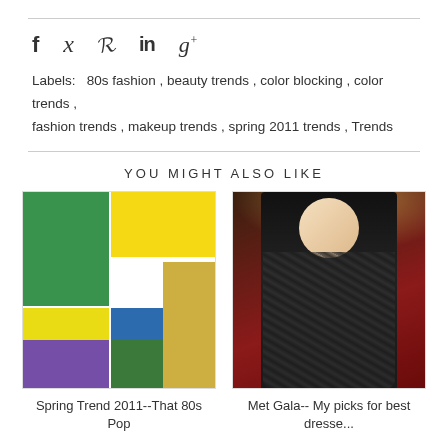[Figure (other): Social sharing icons: Facebook (f), Twitter (bird), Pinterest (P), LinkedIn (in), Google+ (g+)]
Labels:  80s fashion , beauty trends , color blocking , color trends , fashion trends , makeup trends , spring 2011 trends , Trends
YOU MIGHT ALSO LIKE
[Figure (photo): Collage of color-blocked fashion outfits including green blazer, yellow top, blue skirt, yellow skirt, gold chain, purple heels — Spring Trend 2011 That 80s Pop]
Spring Trend 2011--That 80s Pop
[Figure (photo): Woman in black lace gown on red carpet at Met Gala]
Met Gala-- My picks for best dresse...